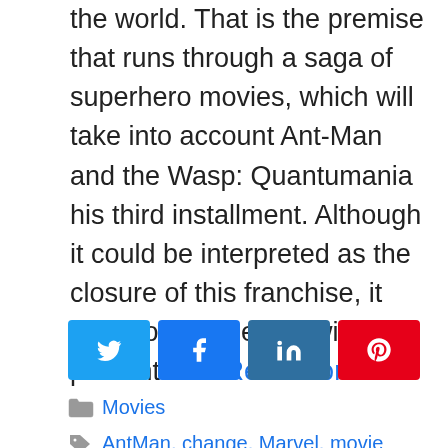the world. That is the premise that runs through a saga of superhero movies, which will take into account Ant-Man and the Wasp: Quantumania his third installment. Although it could be interpreted as the closure of this franchise, it may not be: the film will present a … Read more
[Figure (other): Social sharing buttons: Twitter (blue), Facebook (blue), LinkedIn (dark blue), Pinterest (red)]
Movies
AntMan, change, Marvel, movie